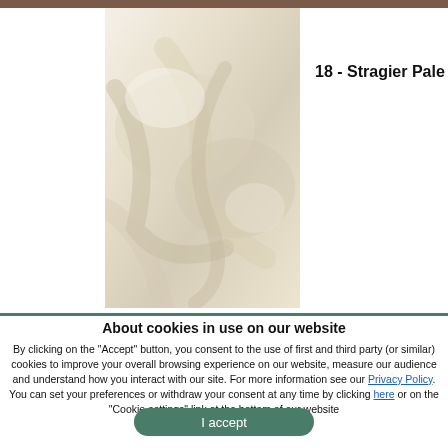[Figure (photo): Pale ivory fabric cloth draped in soft folds against a light background]
18 - Stragier Pale Ivory
About cookies in use on our website
By clicking on the "Accept" button, you consent to the use of first and third party (or similar) cookies to improve your overall browsing experience on our website, measure our audience and understand how you interact with our site. For more information see our Privacy Policy. You can set your preferences or withdraw your consent at any time by clicking here or on the "Cookie settings" link at the bottom of our website